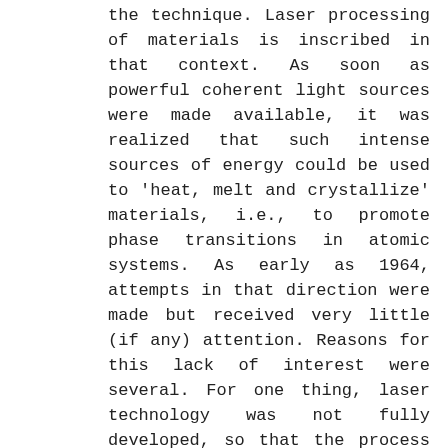the technique. Laser processing of materials is inscribed in that context. As soon as powerful coherent light sources were made available, it was realized that such intense sources of energy could be used to 'heat, melt and crystallize' materials, i.e., to promote phase transitions in atomic systems. As early as 1964, attempts in that direction were made but received very little (if any) attention. Reasons for this lack of interest were several. For one thing, laser technology was not fully developed, so that the process offered poor reliability and no versatility. Also, improving the existing techniques was believed to be sufficient to meet the needs of the time, and there was no real motivation to explore new ways. Finally, and more important, the fundamentals of the physics behind the scenes were and continue to be way out of the